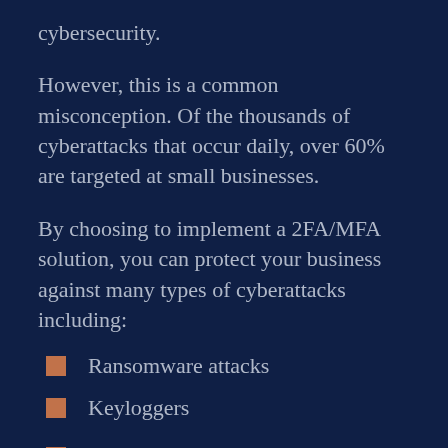cybersecurity.
However, this is a common misconception. Of the thousands of cyberattacks that occur daily, over 60% are targeted at small businesses.
By choosing to implement a 2FA/MFA solution, you can protect your business against many types of cyberattacks including:
Ransomware attacks
Keyloggers
Brute force attacks (partial)